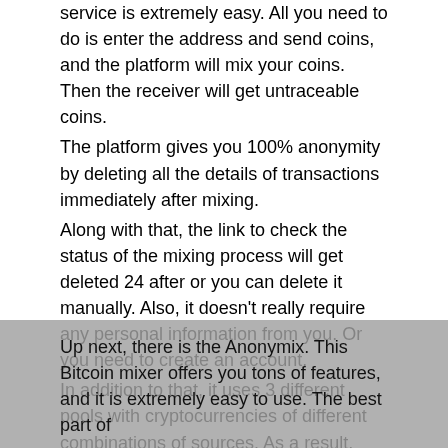service is extremely easy. All you need to do is enter the address and send coins, and the platform will mix your coins. Then the receiver will get untraceable coins.
The platform gives you 100% anonymity by deleting all the details of transactions immediately after mixing.
Along with that, the link to check the status of the mixing process will get deleted 24 after or you can delete it manually. Also, it doesn't really require any personal information from you. Or you need to create an account.
In addition to that, it uses 3 different pools with cryptocurrencies of different combinations of sources. As a result, your bitcoin becomes completely anonymous.
Moreover, SmartMixer also has affordable services fees as it only charges you 1%. The discount will be automatically calculated depending on the total amount on each currency you have mixed. Also, it is extremely fast. As it only requires two confirmations to complete a transaction.
4. Anonymix
Up next, there is the Anonymix. This Bitcoin mixer offers you tons of features, and it is extremely easy to use. The best part of